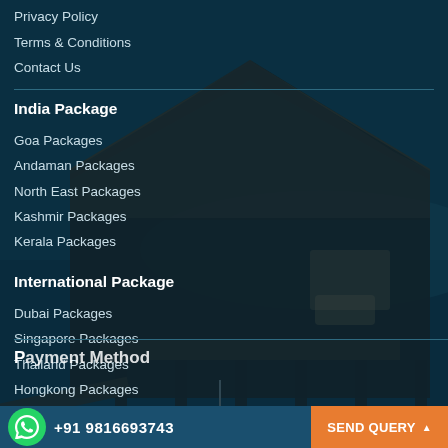Privacy Policy
Terms & Conditions
Contact Us
India Package
Goa Packages
Andaman Packages
North East Packages
Kashmir Packages
Kerala Packages
International Package
Dubai Packages
Singapore Packages
Thailand Packages
Hongkong Packages
[Figure (photo): Overwater bungalow on stilts at a tropical resort during dusk/night, with thatched roof and wooden walkway extending over calm dark water]
+91 9816693743
SEND QUERY